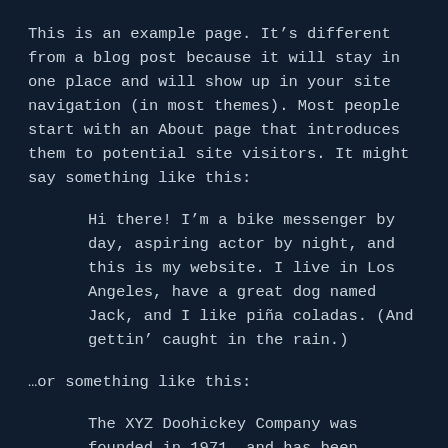This is an example page. It's different from a blog post because it will stay in one place and will show up in your site navigation (in most themes). Most people start with an About page that introduces them to potential site visitors. It might say something like this:
Hi there! I'm a bike messenger by day, aspiring actor by night, and this is my website. I live in Los Angeles, have a great dog named Jack, and I like piña coladas. (And gettin' caught in the rain.)
...or something like this:
The XYZ Doohickey Company was founded in 1971, and has been